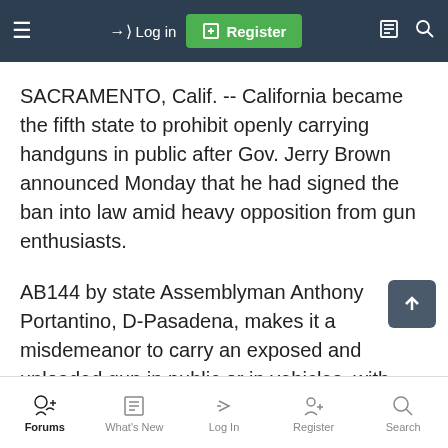Log in | Register
SACRAMENTO, Calif. -- California became the fifth state to prohibit openly carrying handguns in public after Gov. Jerry Brown announced Monday that he had signed the ban into law amid heavy opposition from gun enthusiasts.
AB144 by state Assemblyman Anthony Portantino, D-Pasadena, makes it a misdemeanor to carry an exposed and unloaded gun in public or in vehicles, with violators facing up to a year in prison or a potential fine
Forums | What's New | Log In | Register | Search